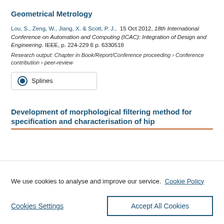Geometrical Metrology
Lou, S., Zeng, W., Jiang, X. & Scott, P. J., 15 Oct 2012, 18th International Conference on Automation and Computing (ICAC): Integration of Design and Engineering. IEEE, p. 224-229 6 p. 6330518
Research output: Chapter in Book/Report/Conference proceeding › Conference contribution › peer-review
Splines
Development of morphological filtering method for specification and characterisation of hip
We use cookies to analyse and improve our service. Cookie Policy
Cookies Settings
Accept All Cookies